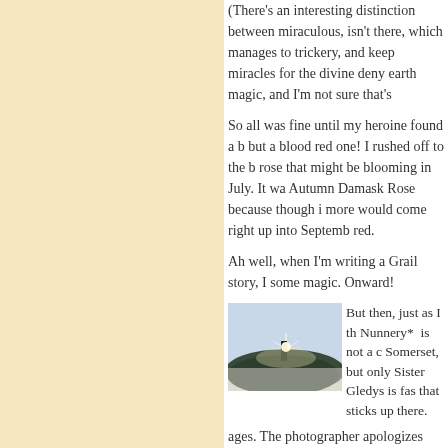(There's an interesting distinction between miraculous, isn't there, which manages to trickery, and keep miracles for the divine deny earth magic, and I'm not sure that's
So all was fine until my heroine found a but a blood red one! I rushed off to the b rose that might be blooming in July. It wa Autumn Damask Rose because though i more would come right up into Septemb red.
Ah well, when I'm writing a Grail story, I some magic. Onward!
[Figure (photo): A dark hilltop or mound with a bright sunburst/lens flare at the peak, set against a pale sky. The foreground shows a frosty or light-colored field.]
But then, just as I th Nunnery* is not a c Somerset, but only Sister Gledys is fas that sticks up there. ages. The photographer apologizes that but I like the mystery of it. Source, Creat
(*Did you know that convent is a recent w there. Came as a shock, as I've made th